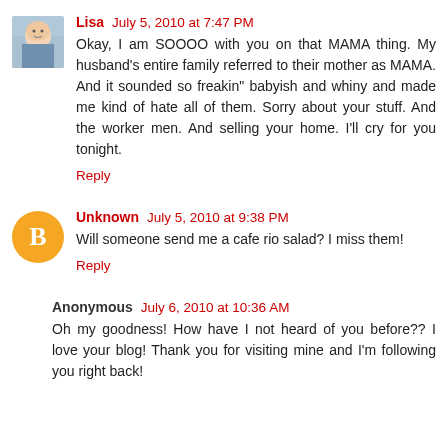Lisa · July 5, 2010 at 7:47 PM
Okay, I am SOOOO with you on that MAMA thing. My husband's entire family referred to their mother as MAMA. And it sounded so freakin" babyish and whiny and made me kind of hate all of them. Sorry about your stuff. And the worker men. And selling your home. I'll cry for you tonight.
Reply
Unknown · July 5, 2010 at 9:38 PM
Will someone send me a cafe rio salad? I miss them!
Reply
Anonymous · July 6, 2010 at 10:36 AM
Oh my goodness! How have I not heard of you before?? I love your blog! Thank you for visiting mine and I'm following you right back!